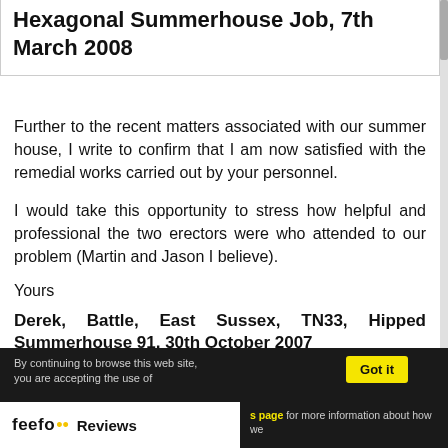Hexagonal Summerhouse Job, 7th March 2008
Further to the recent matters associated with our summer house, I write to confirm that I am now satisfied with the remedial works carried out by your personnel.
I would take this opportunity to stress how helpful and professional the two erectors were who attended to our problem (Martin and Jason I believe).
Yours
Derek, Battle, East Sussex, TN33, Hipped Summerhouse 91, 30th October 2007
By continuing to browse this web site, you are accepting the use of cookies. Click on this page for more information about how we use cookies. Got it